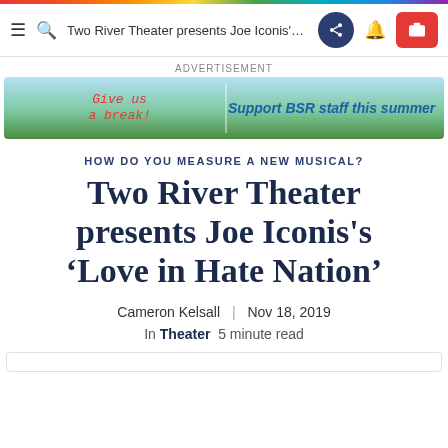Two River Theater presents Joe Iconis's...
[Figure (infographic): Advertisement banner for BSR: Give us a break! Support BSR staff this summer]
HOW DO YOU MEASURE A NEW MUSICAL?
Two River Theater presents Joe Iconis's ‘Love in Hate Nation’
Cameron Kelsall | Nov 18, 2019
In Theater  5 minute read